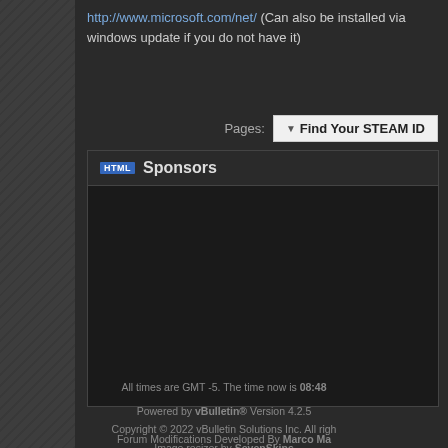http://www.microsoft.com/net/ (Can also be installed via windows update if you do not have it)
Pages:  Find Your STEAM ID
HTML Sponsors
[Figure (other): Empty sponsors content area with dark background]
[Figure (logo): Cloudflare Accelerated & Protected badge with orange cloud logo]
Contact Us  IBIS G
All times are GMT -5. The time now is 08:48
Powered by vBulletin® Version 4.2.5  Copyright © 2022 vBulletin Solutions Inc. All rights reserved.  Image resizer by SevenSkins
Forum Modifications Developed By Marco Ma  Designed By vBInspired.com